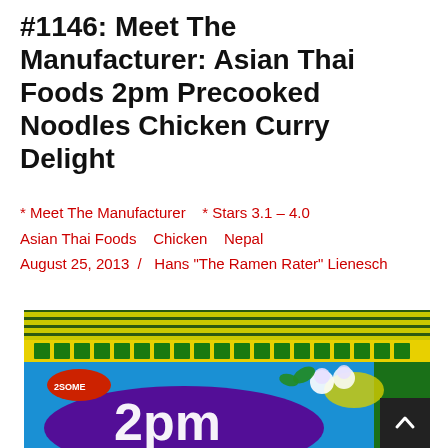#1146: Meet The Manufacturer: Asian Thai Foods 2pm Precooked Noodles Chicken Curry Delight
* Meet The Manufacturer   * Stars 3.1 – 4.0
Asian Thai Foods   Chicken   Nepal
August 25, 2013  /  Hans "The Ramen Rater" Lienesch
[Figure (photo): Photo of a blue 2pm brand instant noodle package with colorful characters and logo visible]